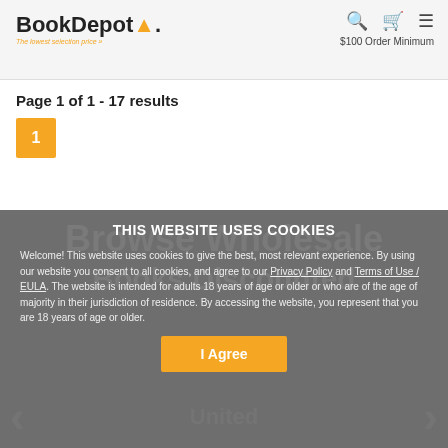BookDepot. The lowest selection price. [search] [cart] [menu] $100 Order Minimum
Page 1 of 1 - 17 results
1
THIS WEBSITE USES COOKIES
Welcome! This website uses cookies to give the best, most relevant experience. By using our website you consent to all cookies, and agree to our Privacy Policy and Terms of Use / EULA. The website is intended for adults 18 years of age or older or who are of the age of majority in their jurisdiction of residence. By accessing the website, you represent that you are 18 years of age or older.
I Agree